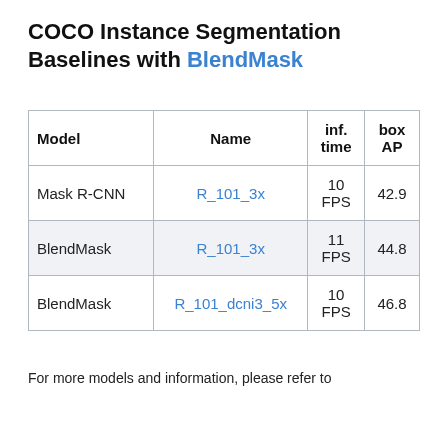COCO Instance Segmentation Baselines with BlendMask
| Model | Name | inf. time | box AP |
| --- | --- | --- | --- |
| Mask R-CNN | R_101_3x | 10 FPS | 42.9 |
| BlendMask | R_101_3x | 11 FPS | 44.8 |
| BlendMask | R_101_dcni3_5x | 10 FPS | 46.8 |
For more models and information, please refer to